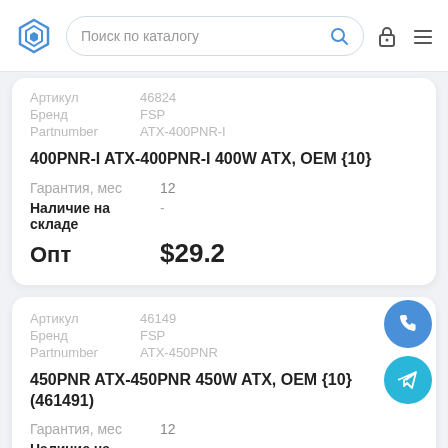Поиск по каталогу
| Артикул | 46824 |
| Бренд | FSP |
| Partnumber | ATX-400PNR-I |
400PNR-I ATX-400PNR-I 400W ATX, OEM {10}
| Гарантия, мес | 12 |
| Наличие на складе | - |
| Опт | $29.2 |
| Артикул | 46149 |
| Бренд | FSP |
| Partnumber | ATX-450PNR |
450PNR ATX-450PNR 450W ATX, OEM {10} (461491)
| Гарантия, мес | 12 |
| Наличие на | - |